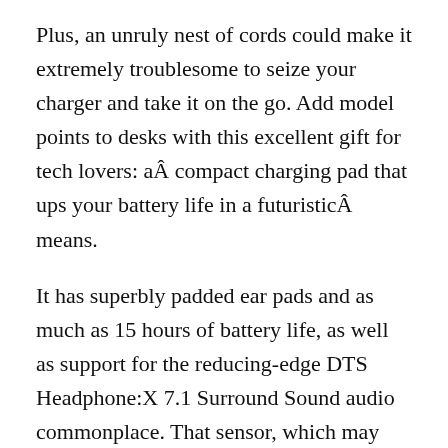Plus, an unruly nest of cords could make it extremely troublesome to seize your charger and take it on the go. Add model points to desks with this excellent gift for tech lovers: aÂ compact charging pad that ups your battery life in a futuristicÂ means.
It has superbly padded ear pads and as much as 15 hours of battery life, as well as support for the reducing-edge DTS Headphone:X 7.1 Surround Sound audio commonplace. That sensor, which may retailer as much as three months worth of knowledge, passes data to the accompanying app at any time when the wearer holds the machine near his or her smartphone.
10 Cool Tech Gadgets That Will